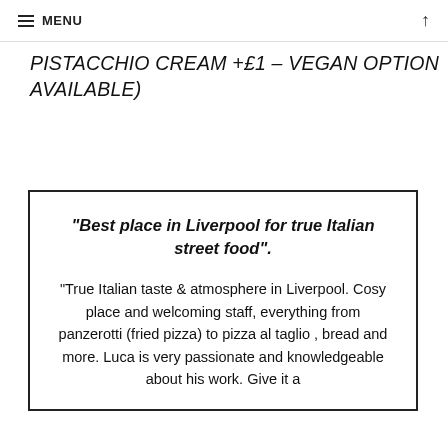≡ MENU ↑
PISTACCHIO CREAM +£1 – VEGAN OPTION AVAILABLE)
"Best place in Liverpool for true Italian street food". "True Italian taste & atmosphere in Liverpool. Cosy place and welcoming staff, everything from panzerotti (fried pizza) to pizza al taglio , bread and more. Luca is very passionate and knowledgeable about his work. Give it a